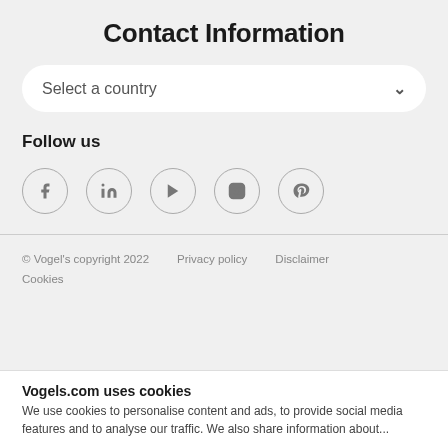Contact Information
Select a country
Follow us
[Figure (illustration): Social media icons in circles: Facebook (f), LinkedIn (in), YouTube (play button), Instagram (camera), Pinterest (p)]
© Vogel's copyright 2022   Privacy policy   Disclaimer   Cookies
Vogels.com uses cookies
We use cookies to personalise content and ads, to provide social media features and to analyse our traffic. We also share information about...